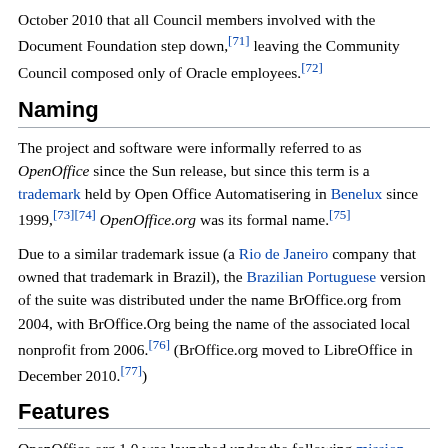October 2010 that all Council members involved with the Document Foundation step down,[71] leaving the Community Council composed only of Oracle employees.[72]
Naming
The project and software were informally referred to as OpenOffice since the Sun release, but since this term is a trademark held by Open Office Automatisering in Benelux since 1999,[73][74] OpenOffice.org was its formal name.[75]
Due to a similar trademark issue (a Rio de Janeiro company that owned that trademark in Brazil), the Brazilian Portuguese version of the suite was distributed under the name BrOffice.org from 2004, with BrOffice.Org being the name of the associated local nonprofit from 2006.[76] (BrOffice.org moved to LibreOffice in December 2010.[77])
Features
OpenOffice.org 1.0 was launched under the following mission statement:[12]